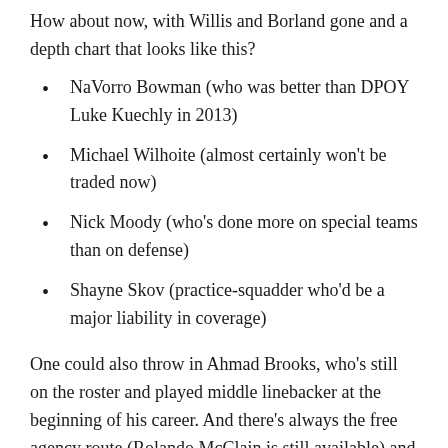How about now, with Willis and Borland gone and a depth chart that looks like this?
NaVorro Bowman (who was better than DPOY Luke Kuechly in 2013)
Michael Wilhoite (almost certainly won't be traded now)
Nick Moody (who's done more on special teams than on defense)
Shayne Skov (practice-squadder who'd be a major liability in coverage)
One could also throw in Ahmad Brooks, who's still on the roster and played middle linebacker at the beginning of his career. And there's always the free agency route (Rolando McClain is still available) and the draft, of course.